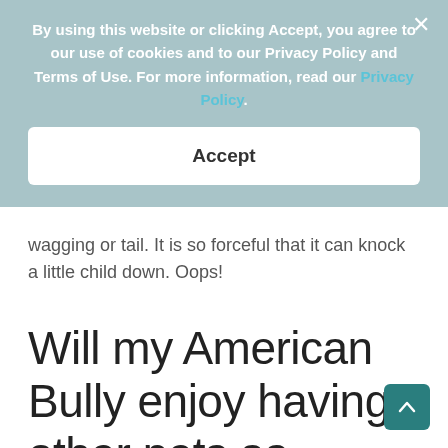wagging or tail. It is so forceful that it can knock a little child down. Oops!
Will my American Bully enjoy having other pets as playmates?
[Figure (screenshot): Cookie consent overlay with light teal/blue-gray background. Contains bold white text: 'By using this website or clicking Accept, you agree to our use of cookies and to our Privacy Policy and Terms of Use. For more information, read our Privacy Policy.' An Accept button is shown as a white rounded rectangle. A close (X) button is in the top-right corner.]
[Figure (other): Teal scroll-to-top button with upward chevron arrow in bottom-right corner.]